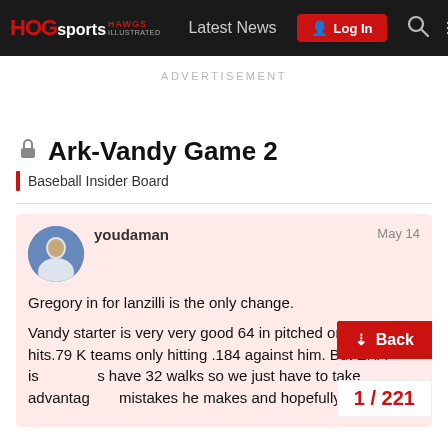HOGsports HAWGS Illustrated — Latest News — Log In
ADVERTISEMENT
Ark-Vandy Game 2
Baseball Insider Board
youdaman — May 14
Gregory in for lanzilli is the only change.

Vandy starter is very very good 64 in pitched only 43 hits.79 K teams only hitting .184 against him. But ERA is [obscured] have 32 walks so we just have to take advantage [obscured] mistakes he makes and hopefully Smith is